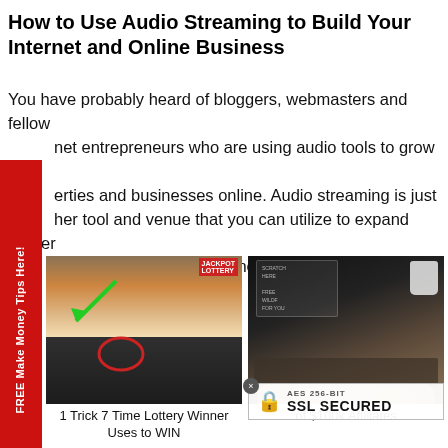How to Use Audio Streaming to Build Your Internet and Online Business
You have probably heard of bloggers, webmasters and fellow net entrepreneurs who are using audio tools to grow their erties and businesses online. Audio streaming is just her tool and venue that you can utilize to expand further market and influence online.
[Figure (photo): Woman holding lottery tickets in a store]
1 Trick 7 Time Lottery Winner Uses to WIN
[Figure (photo): Person typing on laptop with tablet and mug on wooden desk, with SSL secured badge overlay]
of $100k Affiliates